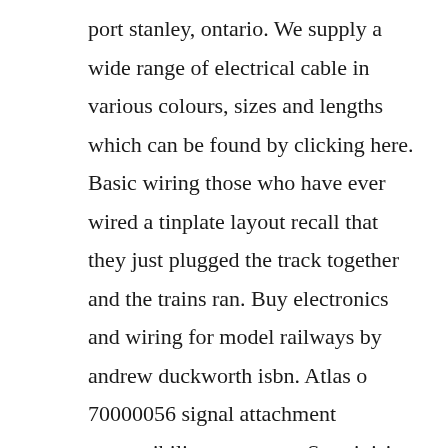port stanley, ontario. We supply a wide range of electrical cable in various colours, sizes and lengths which can be found by clicking here. Basic wiring those who have ever wired a tinplate layout recall that they just plugged the track together and the trains ran. Buy electronics and wiring for model railways by andrew duckworth isbn. Atlas o 70000056 signal attachment compatibility connector. Scrutinising commercial publications such as how to wire your layout and electrics for model railways, you would indeed be led